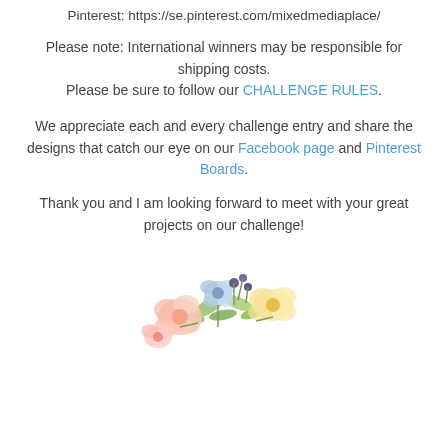Pinterest: https://se.pinterest.com/mixedmediaplace/
Please note: International winners may be responsible for shipping costs.
Please be sure to follow our CHALLENGE RULES.
We appreciate each and every challenge entry and share the designs that catch our eye on our Facebook page and Pinterest Boards.
Thank you and I am looking forward to meet with your great projects on our challenge!
[Figure (illustration): Watercolor floral bouquet illustration with pink, yellow, and blue flowers and green leaves on a white rounded-corner background.]